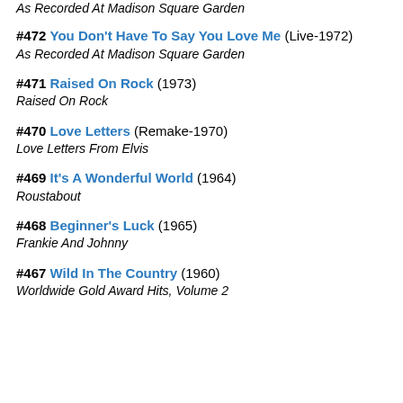As Recorded At Madison Square Garden
#472 You Don't Have To Say You Love Me (Live-1972)
As Recorded At Madison Square Garden
#471 Raised On Rock (1973)
Raised On Rock
#470 Love Letters (Remake-1970)
Love Letters From Elvis
#469 It's A Wonderful World (1964)
Roustabout
#468 Beginner's Luck (1965)
Frankie And Johnny
#467 Wild In The Country (1960)
Worldwide Gold Award Hits, Volume 2